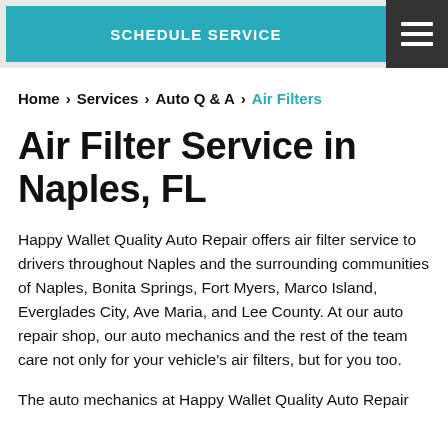SCHEDULE SERVICE
Home > Services > Auto Q & A > Air Filters
Air Filter Service in Naples, FL
Happy Wallet Quality Auto Repair offers air filter service to drivers throughout Naples and the surrounding communities of Naples, Bonita Springs, Fort Myers, Marco Island, Everglades City, Ave Maria, and Lee County. At our auto repair shop, our auto mechanics and the rest of the team care not only for your vehicle's air filters, but for you too.
The auto mechanics at Happy Wallet Quality Auto Repair